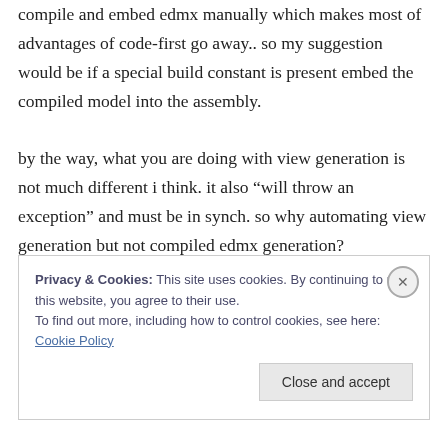compile and embed edmx manually which makes most of advantages of code-first go away.. so my suggestion would be if a special build constant is present embed the compiled model into the assembly.

by the way, what you are doing with view generation is not much different i think. it also “will throw an exception” and must be in synch. so why automating view generation but not compiled edmx generation?
Privacy & Cookies: This site uses cookies. By continuing to use this website, you agree to their use.
To find out more, including how to control cookies, see here: Cookie Policy